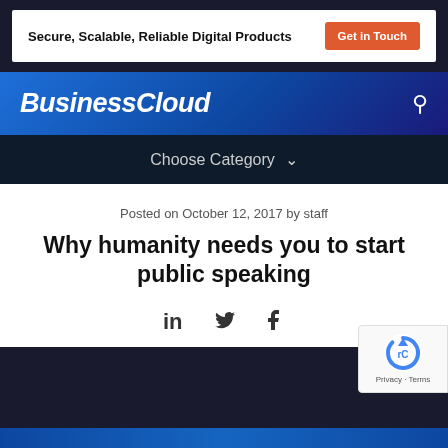[Figure (screenshot): Ad banner with text 'Secure, Scalable, Reliable Digital Products' and a 'Get in Touch' button]
BusinessCloud
Choose Category ∨
Posted on October 12, 2017 by staff
Why humanity needs you to start public speaking
[Figure (infographic): Social sharing icons: LinkedIn, Twitter, Facebook]
[Figure (logo): reCAPTCHA badge with Privacy and Terms links]